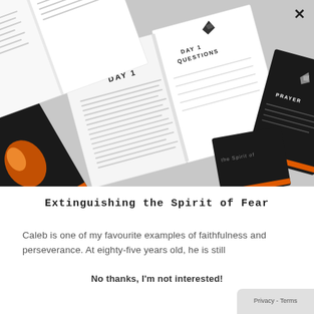[Figure (photo): Flat lay of multiple open books and dark-covered books titled 'Extinguishing the Spirit of Fear', showing interior pages with DAY 1, DAY 1 QUESTIONS, and PRAYER sections with an origami bird logo]
Extinguishing the Spirit of Fear
Caleb is one of my favourite examples of faithfulness and perseverance. At eighty-five years old, he is still
No thanks, I'm not interested!
Privacy - Terms